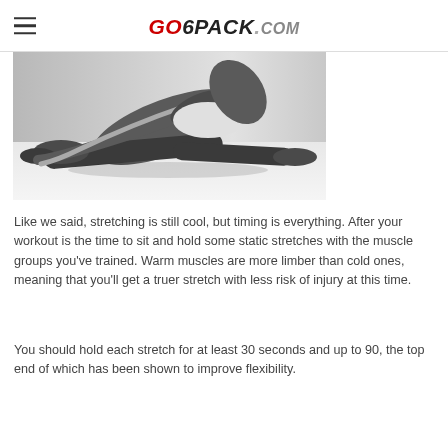GO6PACK.COM
[Figure (photo): Black and white photo of a person doing a seated forward stretch, reaching toward their feet with a resistance band.]
Like we said, stretching is still cool, but timing is everything. After your workout is the time to sit and hold some static stretches with the muscle groups you've trained. Warm muscles are more limber than cold ones, meaning that you'll get a truer stretch with less risk of injury at this time.
You should hold each stretch for at least 30 seconds and up to 90, the top end of which has been shown to improve flexibility.